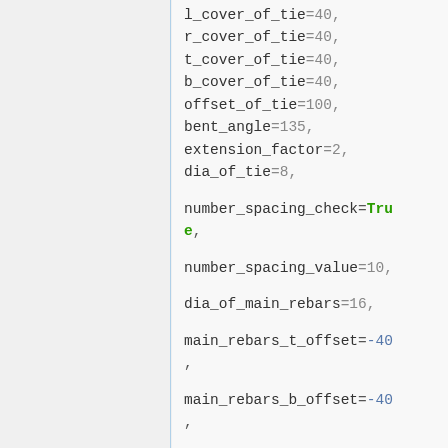l_cover_of_tie=40, r_cover_of_tie=40, t_cover_of_tie=40, b_cover_of_tie=40, offset_of_tie=100, bent_angle=135, extension_factor=2, dia_of_tie=8, number_spacing_check=True, number_spacing_value=10, dia_of_main_rebars=16, main_rebars_t_offset=-40, main_rebars_b_offset=-40, main_rebars_type="LShape